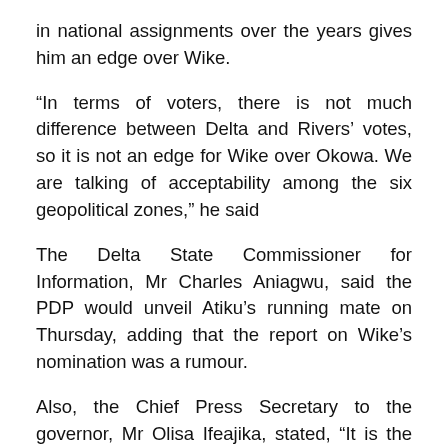in national assignments over the years gives him an edge over Wike.
“In terms of voters, there is not much difference between Delta and Rivers’ votes, so it is not an edge for Wike over Okowa. We are talking of acceptability among the six geopolitical zones,” he said
The Delta State Commissioner for Information, Mr Charles Aniagwu, said the PDP would unveil Atiku’s running mate on Thursday, adding that the report on Wike’s nomination was a rumour.
Also, the Chief Press Secretary to the governor, Mr Olisa Ifeajika, stated, “It is the party and the candidate that pick VP. It is not a contest or race. Nobody buys a form for it rather the party and the candidate take decision who to pick based on good performance.”